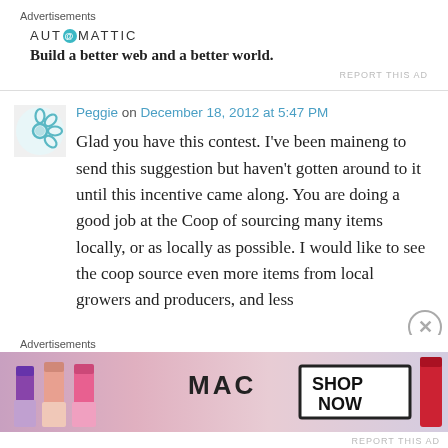Advertisements
[Figure (logo): Automattic logo with teal circle @ symbol and text AUT@MATTIC, tagline: Build a better web and a better world.]
REPORT THIS AD
Peggie on December 18, 2012 at 5:47 PM
Glad you have this contest. I've been maineng to send this suggestion but haven't gotten around to it until this incentive came along. You are doing a good job at the Coop of sourcing many items locally, or as locally as possible. I would like to see the coop source even more items from local growers and producers, and less
Advertisements
[Figure (photo): MAC cosmetics advertisement showing lipsticks in purple, peach, and pink colors with MAC logo and SHOP NOW button in black border box.]